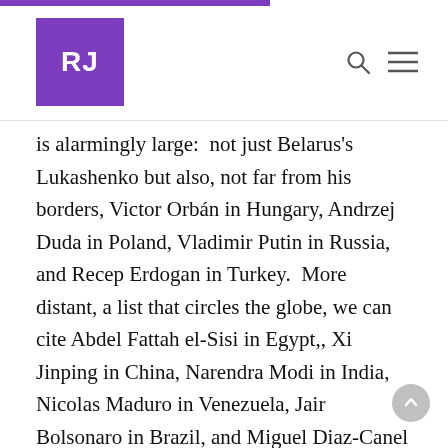RJ
is alarmingly large:  not just Belarus's Lukashenko but also, not far from his borders, Victor Orbán in Hungary, Andrzej Duda in Poland, Vladimir Putin in Russia, and Recep Erdogan in Turkey.  More distant, a list that circles the globe, we can cite Abdel Fattah el-Sisi in Egypt,, Xi Jinping in China, Narendra Modi in India, Nicolas Maduro in Venezuela, Jair Bolsonaro in Brazil, and Miguel Diaz-Canel Bermúdez, carrying forward the legacy of Fidel and Raul Castro, in Cuba.  And most international observers also include in the list of democracies slipping backward the regime of former